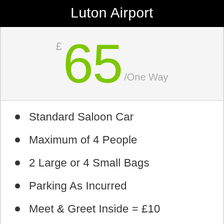Luton Airport
£65 /One Way
Standard Saloon Car
Maximum of 4 People
2 Large or 4 Small Bags
Parking As Incurred
Meet & Greet Inside = £10
Flight Times Monitored